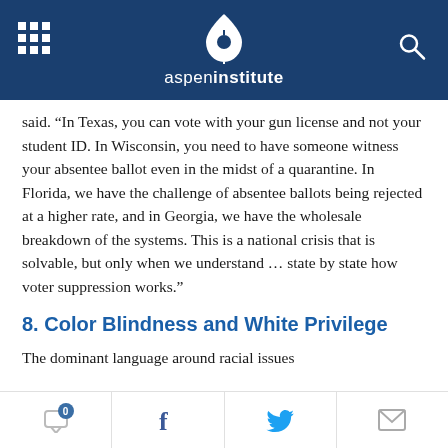aspeninstitute
said. “In Texas, you can vote with your gun license and not your student ID. In Wisconsin, you need to have someone witness your absentee ballot even in the midst of a quarantine. In Florida, we have the challenge of absentee ballots being rejected at a higher rate, and in Georgia, we have the wholesale breakdown of the systems. This is a national crisis that is solvable, but only when we understand … state by state how voter suppression works.”
8. Color Blindness and White Privilege
The dominant language around racial issues